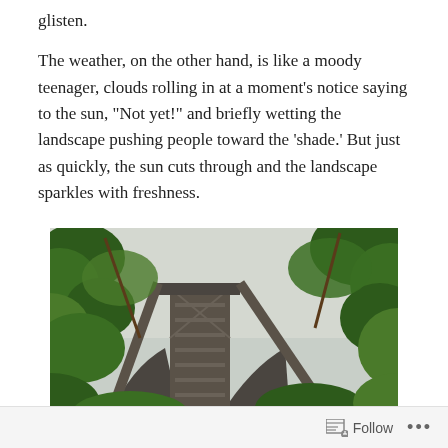glisten.
The weather, on the other hand, is like a moody teenager, clouds rolling in at a moment’s notice saying to the sun, “Not yet!” and briefly wetting the landscape pushing people toward the ‘shade.’ But just as quickly, the sun cuts through and the landscape sparkles with freshness.
[Figure (photo): Photograph of the base of the Eiffel Tower viewed through green leafy tree branches, shot from below looking up, overcast sky visible in background.]
Follow ...